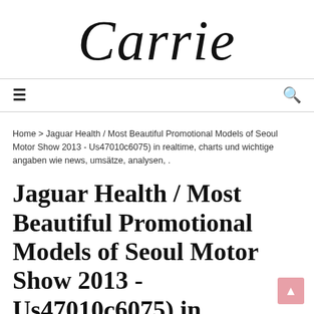Carrie
≡    🔍
Home > Jaguar Health / Most Beautiful Promotional Models of Seoul Motor Show 2013 - Us47010c6075) in realtime, charts und wichtige angaben wie news, umsätze, analysen, .
Jaguar Health / Most Beautiful Promotional Models of Seoul Motor Show 2013 - Us47010c6075) in realtime,